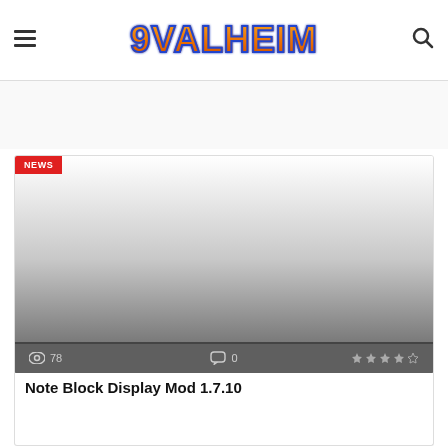9VALHEIM
[Figure (other): Article card image with gradient from white to dark gray, with NEWS badge and stats bar showing 78 views, 0 comments, and star rating]
Note Block Display Mod 1.7.10